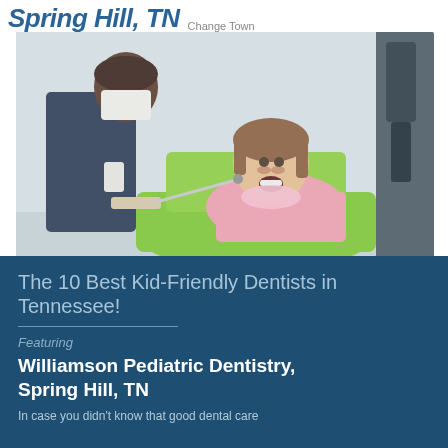Spring Hill, TN Change Town
[Figure (photo): A dentist examining a young girl's teeth while she sits in a bright green dental chair. The dentist is wearing scrubs and a mask, using dental tools. The child appears calm and cooperative.]
The 10 Best Kid-Friendly Dentists in Tennessee!
Featuring
Williamson Pediatric Dentistry, Spring Hill, TN
In case you didn't know that good dental care